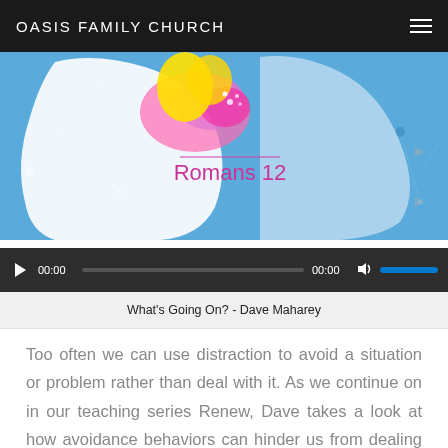OASIS FAMILY CHURCH
[Figure (illustration): Artistic illustration of a human head silhouette with colorful brain imagery and neural network pattern background. Text 'Romans 12' in pink/magenta color centered on the image.]
[Figure (screenshot): Audio player control bar with play button, time display 00:00, progress bar, and volume control with blue volume bar.]
What's Going On? - Dave Maharey
Too often we can use distraction to avoid a situation or problem rather than deal with it. As we continue on in our teaching series Renew, Dave takes a look at how avoidance behaviors can hinder us from dealing with a particular problem or feeling and how these times of